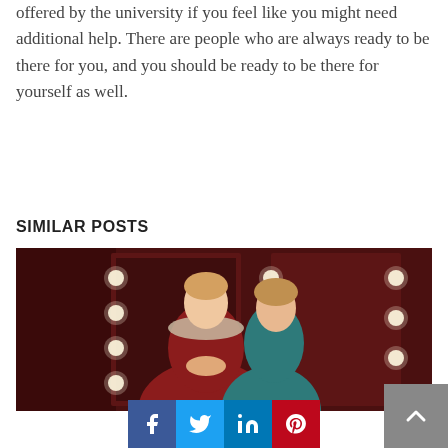offered by the university if you feel like you might need additional help. There are people who are always ready to be there for you, and you should be ready to be there for yourself as well.
SIMILAR POSTS
[Figure (photo): Two young women in theatrical costumes standing in front of a dressing room mirror with globe lights. The woman in front wears a dark red/maroon velvet garment with an ornate lace collar, and the woman behind her wears a teal/blue satin outfit.]
[Figure (infographic): Social media share buttons: Facebook (blue), Twitter (light blue), LinkedIn (blue), Pinterest (red), and a scroll-to-top button (grey) with an upward arrow.]